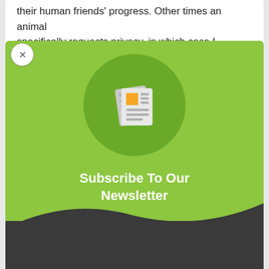their human friends' progress. Other times an animal specifically requests privacy, in which case I present
[Figure (screenshot): Newsletter subscription modal popup with green background, newspaper icon in dark green circle, bold white title 'Subscribe To Our Newsletter', subtitle 'Join our mailing list to receive occasional news and updates from Mind-Energy', and a dark gray bottom section. A close (X) button appears in the top-left corner of the modal.]